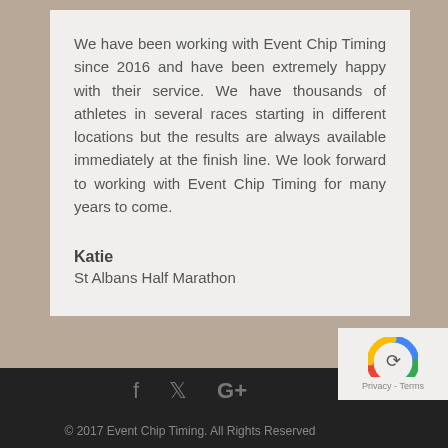We have been working with Event Chip Timing since 2016 and have been extremely happy with their service. We have thousands of athletes in several races starting in different locations but the results are always available immediately at the finish line. We look forward to working with Event Chip Timing for many years to come.
Katie
St Albans Half Marathon
© 2017 Event Chip Timing. All Rights Reserved